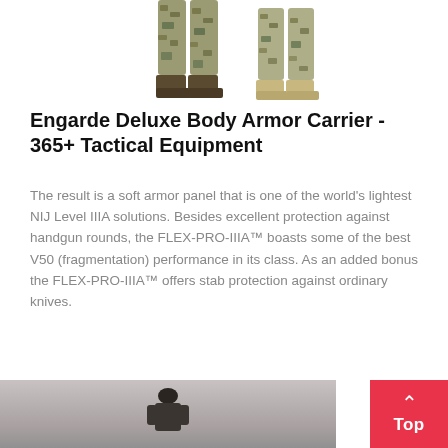[Figure (photo): Two figures in camouflage tactical gear/pants shown from waist down, with boots, against a white background — product image for Engarde body armor carrier.]
Engarde Deluxe Body Armor Carrier - 365+ Tactical Equipment
The result is a soft armor panel that is one of the world's lightest NIJ Level IIIA solutions. Besides excellent protection against handgun rounds, the FLEX-PRO-IIIA™ boasts some of the best V50 (fragmentation) performance in its class. As an added bonus the FLEX-PRO-IIIA™ offers stab protection against ordinary knives.
[Figure (photo): A person in tactical/military clothing shown from the torso area, on a grey background — product image at the bottom of the page.]